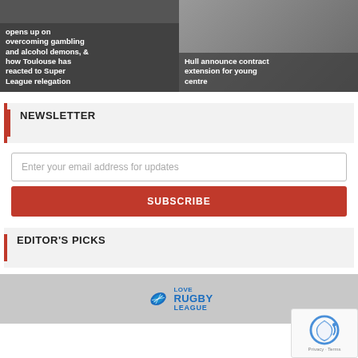[Figure (photo): Left card: rugby/sports themed background with dark overlay text about overcoming gambling and alcohol demons and Toulouse Super League relegation]
opens up on overcoming gambling and alcohol demons, & how Toulouse has reacted to Super League relegation
[Figure (photo): Right card: rugby action photo with Hull FC players, dark overlay text about contract extension]
Hull announce contract extension for young centre
NEWSLETTER
Enter your email address for updates
SUBSCRIBE
EDITOR'S PICKS
[Figure (logo): Love Rugby League logo with rugby ball icon and blue text]
[Figure (other): reCAPTCHA widget with Privacy and Terms text]